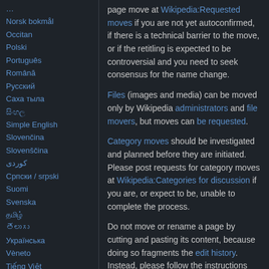Norsk bokmål
Occitan
Polski
Português
Română
Русский
Саха тыла
සිංහල
Simple English
Slovenčina
Slovenščina
كوردی
Српски / srpski
Suomi
Svenska
தமிழ்
తెలుగు
Українська
Vèneto
Tiếng Việt
ייִדיש
粵語
中文
page move at Wikipedia:Requested moves if you are not yet autoconfirmed, if there is a technical barrier to the move, or if the retitling is expected to be controversial and you need to seek consensus for the name change.
Files (images and media) can be moved only by Wikipedia administrators and file movers, but moves can be requested.
Category moves should be investigated and planned before they are initiated. Please post requests for category moves at Wikipedia:Categories for discussion if you are, or expect to be, unable to complete the process.
Do not move or rename a page by cutting and pasting its content, because doing so fragments the edit history. Instead, please follow the instructions given below.